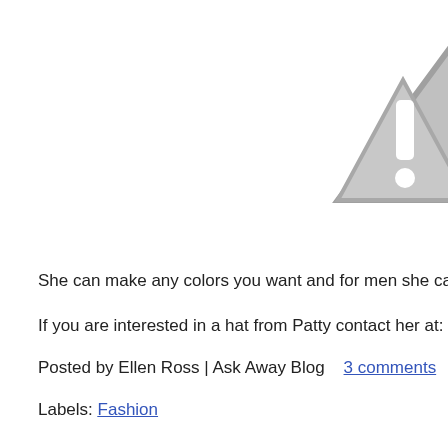[Figure (illustration): Gray warning triangle with exclamation mark icon, partially cropped at top-right corner of the page]
She can make any colors you want and for men she can even
If you are interested in a hat from Patty contact her at:  beach
Posted by Ellen Ross | Ask Away Blog    3 comments   M
Labels: Fashion